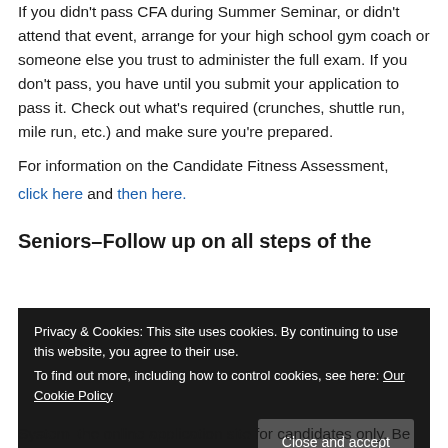If you didn't pass CFA during Summer Seminar, or didn't attend that event, arrange for your high school gym coach or someone else you trust to administer the full exam. If you don't pass, you have until you submit your application to pass it. Check out what's required (crunches, shuttle run, mile run, etc.) and make sure you're prepared.
For information on the Candidate Fitness Assessment, click here and then here.
Seniors–Follow up on all steps of the
Privacy & Cookies: This site uses cookies. By continuing to use this website, you agree to their use. To find out more, including how to control cookies, see here: Our Cookie Policy
System–the online application site for candidates only. Be